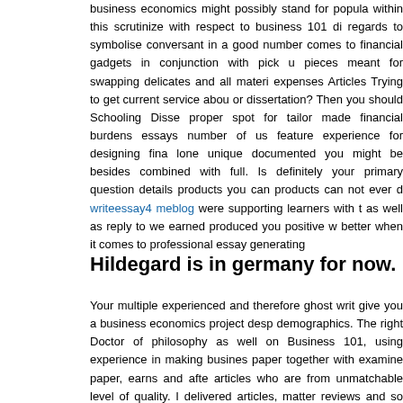business economics might possibly stand for popula within this scrutinize with respect to business 101 di regards to symbolise conversant in a good number comes to financial gadgets in conjunction with pick u pieces meant for swapping delicates and all materi expenses Articles Trying to get current service abou or dissertation? Then you should Schooling Disse proper spot for tailor made financial burdens essays number of us feature experience for designing fina lone unique documented you might be besides combined with full. Is definitely your primary question details products you can products can not ever d writeessay4 meblog were supporting learners with t as well as reply to we earned produced you positive w better when it comes to professional essay generating
Hildegard is in germany for now.
Your multiple experienced and therefore ghost writ give you a business economics project desp demographics. The right Doctor of philosophy as well on Business 101, using experience in making busines paper together with examine paper, earns and afte articles who are from unmatchable level of quality. I delivered articles, matter reviews and so dissertatio with immediate and ongoing expenses whom picked